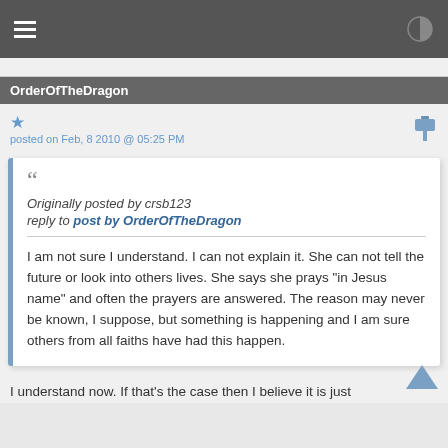OrderOfTheDragon
posted on Feb, 8 2010 @ 05:25 PM
Originally posted by crsb123
reply to post by OrderOfTheDragon

I am not sure I understand. I can not explain it. She can not tell the future or look into others lives. She says she prays "in Jesus name" and often the prayers are answered. The reason may never be known, I suppose, but something is happening and I am sure others from all faiths have had this happen.
I understand now. If that's the case then I believe it is just